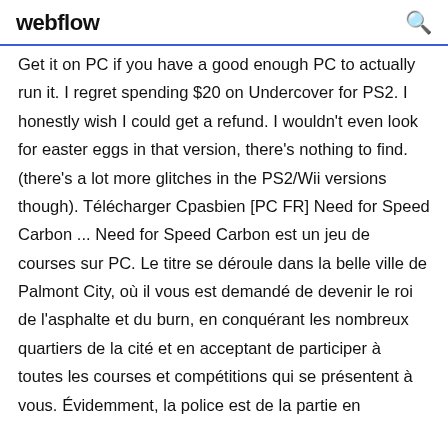webflow
Get it on PC if you have a good enough PC to actually run it. I regret spending $20 on Undercover for PS2. I honestly wish I could get a refund. I wouldn't even look for easter eggs in that version, there's nothing to find. (there's a lot more glitches in the PS2/Wii versions though). Télécharger Cpasbien [PC FR] Need for Speed Carbon ... Need for Speed Carbon est un jeu de courses sur PC. Le titre se déroule dans la belle ville de Palmont City, où il vous est demandé de devenir le roi de l'asphalte et du burn, en conquérant les nombreux quartiers de la cité et en acceptant de participer à toutes les courses et compétitions qui se présentent à vous. Évidemment, la police est de la partie en